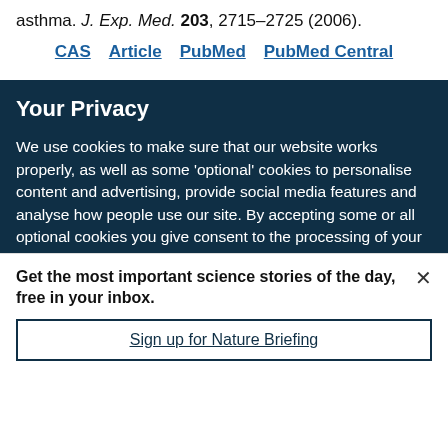asthma. J. Exp. Med. 203, 2715–2725 (2006).
CAS   Article   PubMed   PubMed Central
Your Privacy
We use cookies to make sure that our website works properly, as well as some 'optional' cookies to personalise content and advertising, provide social media features and analyse how people use our site. By accepting some or all optional cookies you give consent to the processing of your personal data, including transfer to third parties, some in countries outside of the European Economic Area that do not offer the same data protection standards as the country where you live. You can decide which optional cookies to accept by clicking on 'Manage Settings', where you can
Get the most important science stories of the day, free in your inbox.
Sign up for Nature Briefing